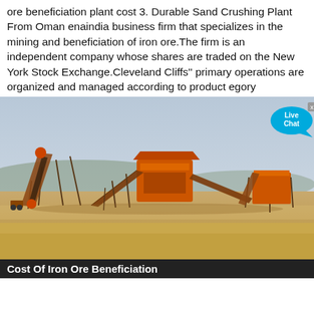ore beneficiation plant cost 3. Durable Sand Crushing Plant From Oman enaindia business firm that specializes in the mining and beneficiation of iron ore.The firm is an independent company whose shares are traded on the New York Stock Exchange.Cleveland Cliffs'' primary operations are organized and managed according to product egory
[Figure (photo): Photograph of a sand crushing plant with orange conveyor belt machinery and industrial equipment set in a dry sandy landscape under a hazy sky. A 'Live Chat' speech bubble overlay is visible in the top right corner.]
Cost Of Iron Ore Beneficiation